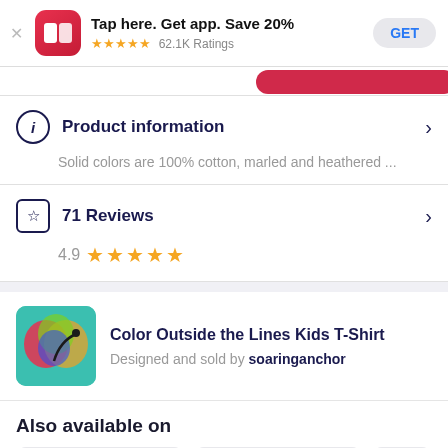[Figure (screenshot): App banner: Redbubble logo (RB), text 'Tap here. Get app. Save 20%', 5 stars, 62.1K Ratings, GET button]
Tap here. Get app. Save 20%
★★★★★ 62.1K Ratings
GET
Product information
Solid colors are 100% cotton, marled and heathered ...
71 Reviews
4.9 ★★★★★
Color Outside the Lines Kids T-Shirt
Designed and sold by soaringanchor
Also available on